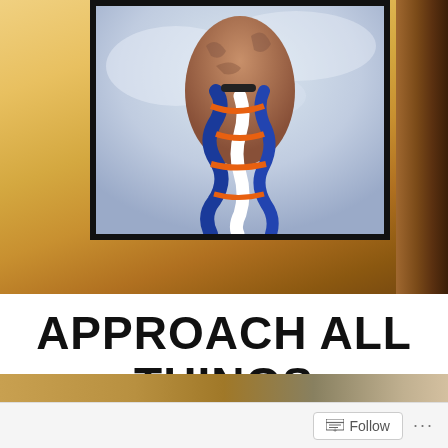[Figure (photo): A person's tattooed hand gripping a blue, white, and orange braided rope or flag, held upward. The framed photo is set against a warm blurred outdoor background with golden grass tones and a tree trunk on the right edge. The photo has a thick black border/frame.]
APPROACH ALL THINGS
[Figure (photo): Bottom strip showing a partial outdoor scene — warm golden grass tones.]
Follow ...